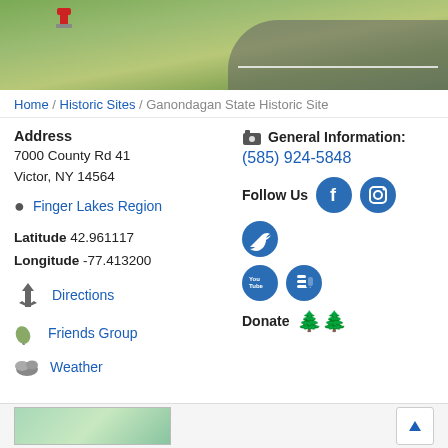[Figure (photo): Aerial/street view photo showing a road with grass and a fire hydrant, cars visible in the background]
Home / Historic Sites / Ganondagan State Historic Site
Address
7000 County Rd 41
Victor, NY 14564
Finger Lakes Region
Latitude 42.961117
Longitude -77.413200
Directions
Friends Group
Weather
General Information:
(585) 924-5848
Follow Us
Donate